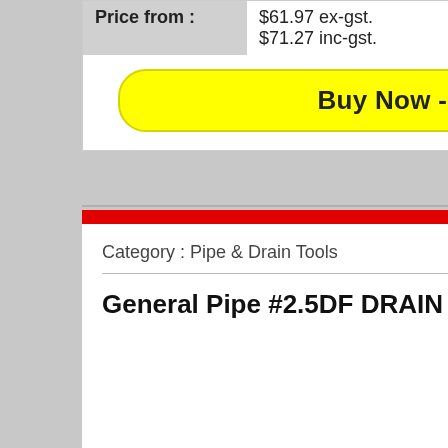| Price from : |  |
| --- | --- |
| Price from : | $61.97 ex-gst.
$71.27 inc-gst. |
Buy Now - More Info
Category : Pipe & Drain Tools
General Pipe #2.5DF DRAIN FLUSH TOOL-63mm